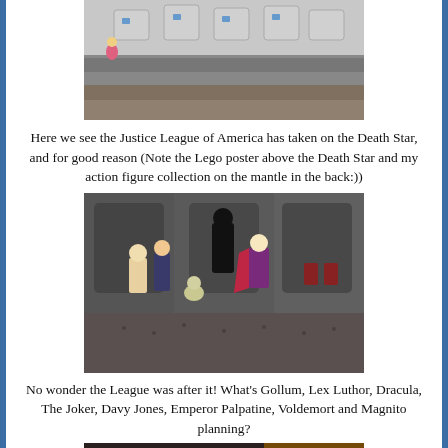[Figure (photo): Photo of a LEGO Death Star model with Justice League action figures, viewed from above/side. A small figure visible on the left side.]
Here we see the Justice League of America has taken on the Death Star, and for good reason (Note the Lego poster above the Death Star and my action figure collection on the mantle in the back:))
[Figure (photo): Photo of LEGO minifigures inside the Death Star interior - showing Gollum, Lex Luthor, Dracula, The Joker, Davy Jones, Emperor Palpatine, Voldemort and Magnito gathered together.]
No wonder the League was after it! What's Gollum, Lex Luthor, Dracula, The Joker, Davy Jones, Emperor Palpatine, Voldemort and Magnito planning?
[Figure (photo): Partial photo at bottom of page showing LEGO scene with orange/red figure visible.]